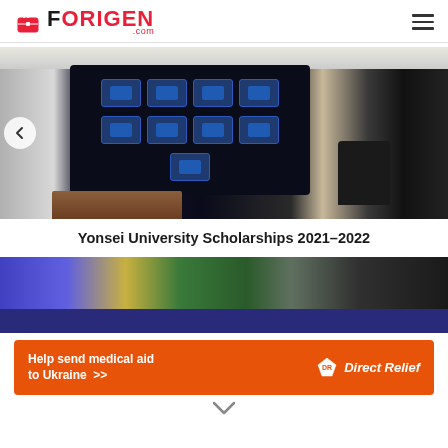FORIGEN.com
[Figure (photo): Office/conference room with a large wall-mounted TV screen displaying icons, a wooden desk, office chairs, curtains, and modern ceiling lighting.]
Yonsei University Scholarships 2021-2022
[Figure (photo): Partial view of a second image with blue gradient background, a gavel, green plant, and dark keyboard visible.]
[Figure (infographic): Orange advertisement banner: 'Help send medical aid to Ukraine >> Direct Relief' with Direct Relief logo.]